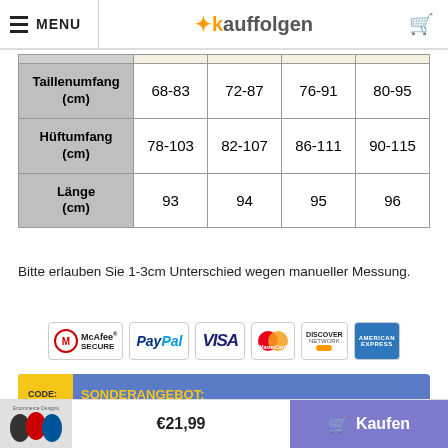MENU | kauffolgen
|  |  |  |  |  |
| --- | --- | --- | --- | --- |
| Taillenumfang (cm) | 68-83 | 72-87 | 76-91 | 80-95 |
| Hüftumfang (cm) | 78-103 | 82-107 | 86-111 | 90-115 |
| Länge (cm) | 93 | 94 | 95 | 96 |
Bitte erlauben Sie 1-3cm Unterschied wegen manueller Messung.
[Figure (logo): Payment logos: McAfee SECURE, PayPal, VISA, MasterCard, Discover Network, American Express]
[Figure (infographic): Sonderangebot banner: Bezahlen Sie mit PayPal und erhalten Sie 5 Euro Rabatt wenn]
€21,99 Kaufen